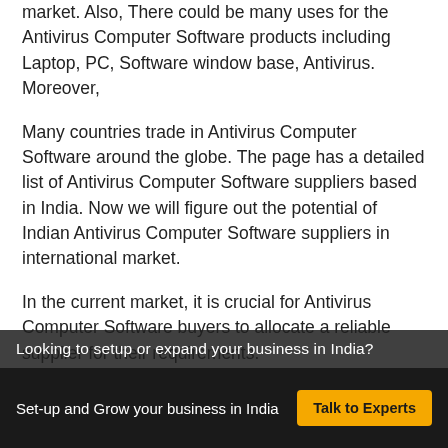market. Also, There could be many uses for the Antivirus Computer Software products including Laptop, PC, Software window base, Antivirus. Moreover,
Many countries trade in Antivirus Computer Software around the globe. The page has a detailed list of Antivirus Computer Software suppliers based in India. Now we will figure out the potential of Indian Antivirus Computer Software suppliers in international market.
In the current market, it is crucial for Antivirus Computer Software buyers to allocate a reliable supplier for their requirements.
If any country wishes to trade Antivirus
Looking to setup or expand your business in India?
Set-up and Grow your business in India   Talk to Experts